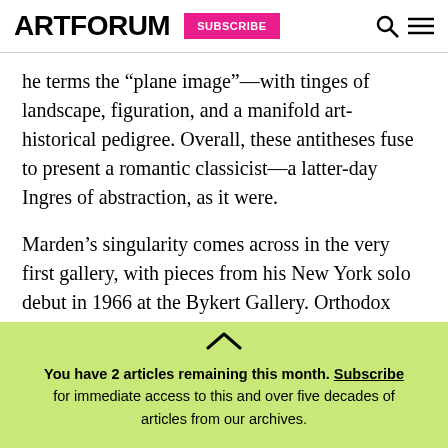ARTFORUM | SUBSCRIBE
he terms the “plane image”—with tinges of landscape, figuration, and a manifold art-historical pedigree. Overall, these antitheses fuse to present a romantic classicist—a latter-day Ingres of abstraction, as it were.
Marden’s singularity comes across in the very first gallery, with pieces from his New York solo debut in 1966 at the Bykert Gallery. Orthodox wisdom
You have 2 articles remaining this month. Subscribe for immediate access to this and over five decades of articles from our archives.